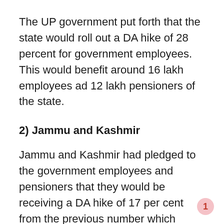The UP government put forth that the state would roll out a DA hike of 28 percent for government employees. This would benefit around 16 lakh employees ad 12 lakh pensioners of the state.
2) Jammu and Kashmir
Jammu and Kashmir had pledged to the government employees and pensioners that they would be receiving a DA hike of 17 per cent from the previous number which brings the tally up to 28 percent. This was effective from July 1, the same as the Center.